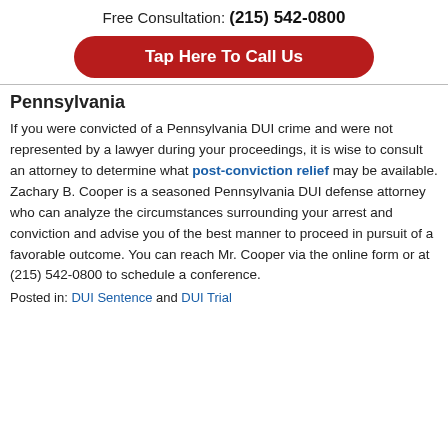Free Consultation: (215) 542-0800
Tap Here To Call Us
Pennsylvania
If you were convicted of a Pennsylvania DUI crime and were not represented by a lawyer during your proceedings, it is wise to consult an attorney to determine what post-conviction relief may be available. Zachary B. Cooper is a seasoned Pennsylvania DUI defense attorney who can analyze the circumstances surrounding your arrest and conviction and advise you of the best manner to proceed in pursuit of a favorable outcome. You can reach Mr. Cooper via the online form or at (215) 542-0800 to schedule a conference.
Posted in: DUI Sentence and DUI Trial